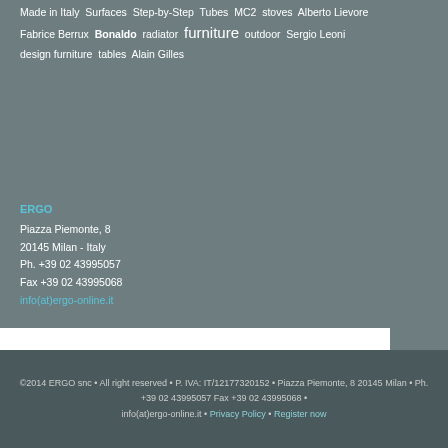Made in Italy  Surfaces  Step-by-Step  Tubes  MC2  stoves  Alberto Lievore  Fabrice Berrux  Bonaldo  radiator  furniture  outdoor  Sergio Leoni  design furniture  tables  Alain Gilles
ERGO
Piazza Piemonte, 8
20145 Milan - Italy
Ph. +39 02 43995057
Fax +39 02 43995068
info(at)ergo-online.it
©2014 ERGO snc • All right reserved • P. IVA: IT/12177320152 • Piazza Piemonte, 8 20145 Milan • Ph. +39 02 43995057 Fax +39 02 43995068 • info(at)ergo-online.it • Privacy Policy • Register now